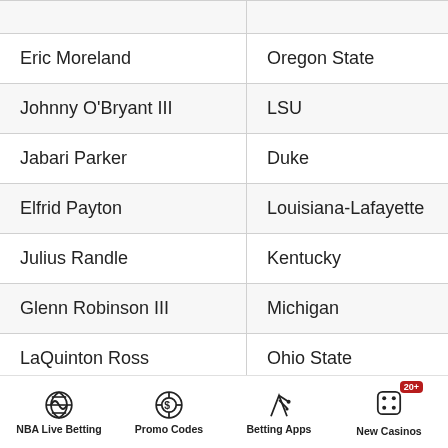| Player | School |
| --- | --- |
|  |  |
| Eric Moreland | Oregon State |
| Johnny O'Bryant III | LSU |
| Jabari Parker | Duke |
| Elfrid Payton | Louisiana-Lafayette |
| Julius Randle | Kentucky |
| Glenn Robinson III | Michigan |
| LaQuinton Ross | Ohio State |
| Antonio Rucker | Clinton JC (SC) |
NBA Live Betting | Promo Codes | Betting Apps | New Casinos